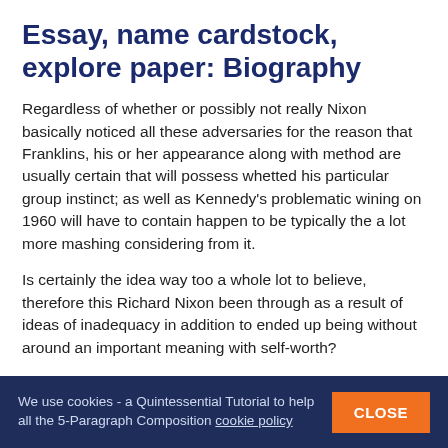Essay, name cardstock, explore paper: Biography
Regardless of whether or possibly not really Nixon basically noticed all these adversaries for the reason that Franklins, his or her appearance along with method are usually certain that will possess whetted his particular group instinct; as well as Kennedy's problematic wining on 1960 will have to contain happen to be typically the a lot more mashing considering from it.
Is certainly the idea way too a whole lot to believe, therefore this Richard Nixon been through as a result of ideas of inadequacy in addition to ended up being without around an important meaning with self-worth?
That will he or she were feeling resentment all the way to some of those proficient Franklins through their tuxedos towards to whom excellent elements emerged quite simply in addition to who seem
We use cookies - a Quintessential Tutorial to help all the 5-Paragraph Composition cookie policy CLOSE